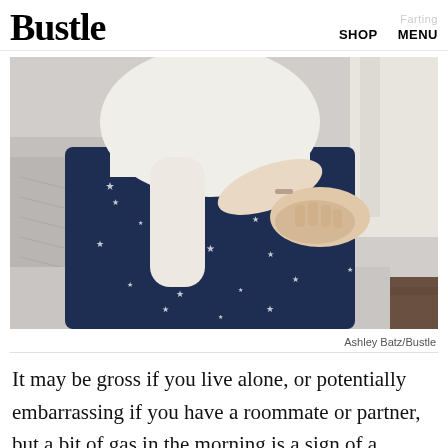Bustle  SHOP  MENU  Farting
[Figure (photo): Person seated on a bed wearing dark navy blue star-patterned pajama pants and a white long-sleeve top, hands resting on knee, with grey textured bedding and curtains in background. Photo by Ashley Batz/Bustle.]
Ashley Batz/Bustle
It may be gross if you live alone, or potentially embarrassing if you have a roommate or partner, but a bit of gas in the morning is a sign of a healthy